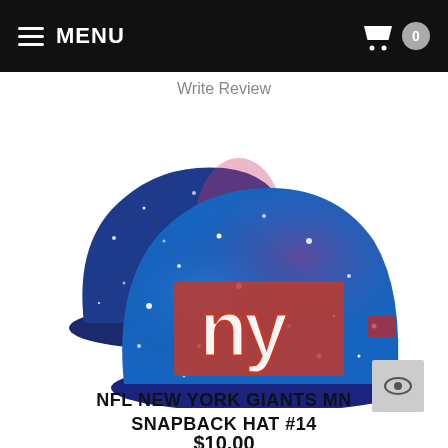MENU  0
Write Review
[Figure (photo): Two NY Giants galaxy-print snapback hats shown from back and front angles on white background]
NFL NEW YORK GIANTS MN SNAPBACK HAT #14
$10.00